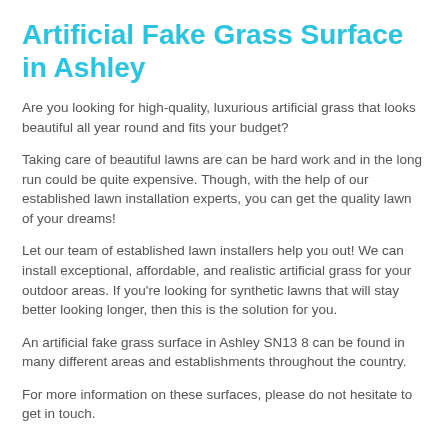Artificial Fake Grass Surface in Ashley
Are you looking for high-quality, luxurious artificial grass that looks beautiful all year round and fits your budget?
Taking care of beautiful lawns are can be hard work and in the long run could be quite expensive. Though, with the help of our established lawn installation experts, you can get the quality lawn of your dreams!
Let our team of established lawn installers help you out! We can install exceptional, affordable, and realistic artificial grass for your outdoor areas. If you're looking for synthetic lawns that will stay better looking longer, then this is the solution for you.
An artificial fake grass surface in Ashley SN13 8 can be found in many different areas and establishments throughout the country.
For more information on these surfaces, please do not hesitate to get in touch.